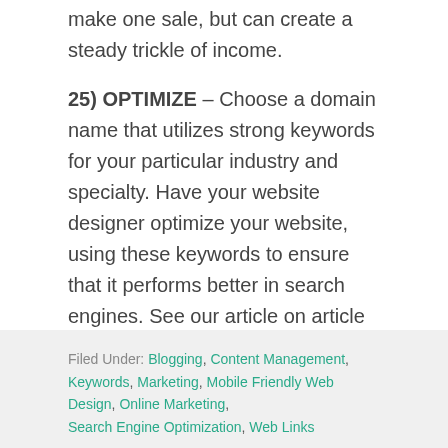make one sale, but can create a steady trickle of income.
25) OPTIMIZE – Choose a domain name that utilizes strong keywords for your particular industry and specialty. Have your website designer optimize your website, using these keywords to ensure that it performs better in search engines. See our article on article on search engine optimization.
Filed Under: Blogging, Content Management, Keywords, Marketing, Mobile Friendly Web Design, Online Marketing, Search Engine Optimization, Web Links